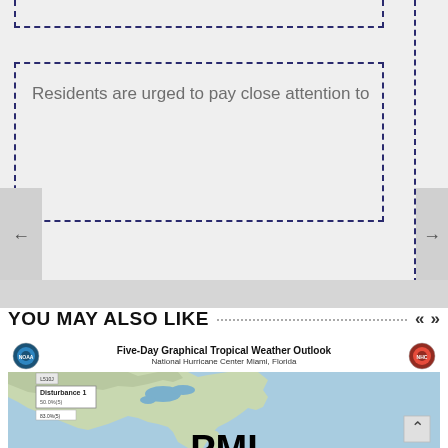Residents are urged to pay close attention to
YOU MAY ALSO LIKE
[Figure (map): Five-Day Graphical Tropical Weather Outlook from National Hurricane Center Miami, Florida. Shows a weather map of the eastern US and Atlantic coast with a Disturbance 1 label marked on the map.]